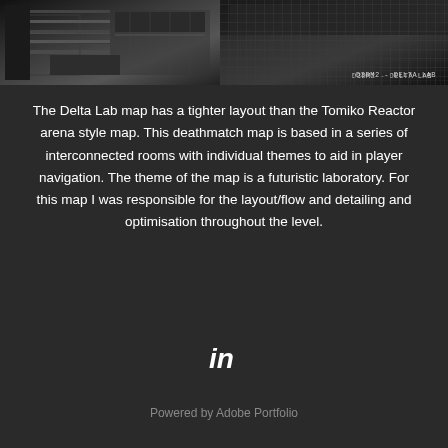[Figure (screenshot): Two dark sci-fi game level screenshots side by side showing D3DM2 - Delta Lab environment. Left image shows an interior corridor with industrial equipment. Right image shows a dark floor with grid/grate pattern. Label 'D3DM2 - DELTA LAB' visible on the right image.]
The Delta Lab map has a tighter layout than the Tomiko Reactor arena style map. This deathmatch map is based in a series of interconnected rooms with individual themes to aid in player navigation. The theme of the map is a futuristic laboratory. For this map I was responsible for the layout/flow and detailing and optimisation throughout the level.
[Figure (logo): LinkedIn 'in' logo icon in white]
Powered by Adobe Portfolio